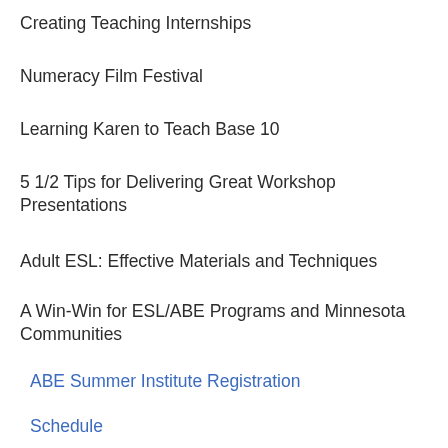Creating Teaching Internships
Numeracy Film Festival
Learning Karen to Teach Base 10
5 1/2 Tips for Delivering Great Workshop Presentations
Adult ESL: Effective Materials and Techniques
A Win-Win for ESL/ABE Programs and Minnesota Communities
ABE Summer Institute Registration
Schedule